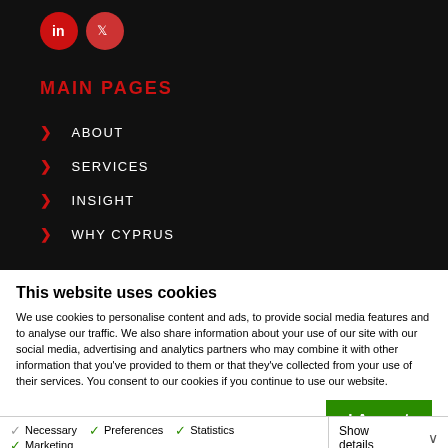[Figure (logo): Two circular social media icons (LinkedIn and Twitter) in red/dark red on a black background]
MAIN PAGES
> ABOUT
> SERVICES
> INSIGHT
> WHY CYPRUS
This website uses cookies
We use cookies to personalise content and ads, to provide social media features and to analyse our traffic. We also share information about your use of our site with our social media, advertising and analytics partners who may combine it with other information that you've provided to them or that they've collected from your use of their services. You consent to our cookies if you continue to use our website.
I Accept
Necessary  Preferences  Statistics  Marketing  Show details